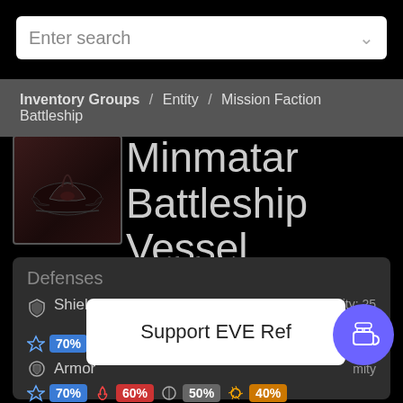Enter search
Inventory Groups / Entity / Mission Faction Battleship
Minmatar Battleship Vessel
Defenses
Shield    3,975 HP    uniformity: 25%
70%  [icon]  [red]  40%
Armor    mity
70%  60%  50%  40%
Support EVE Ref